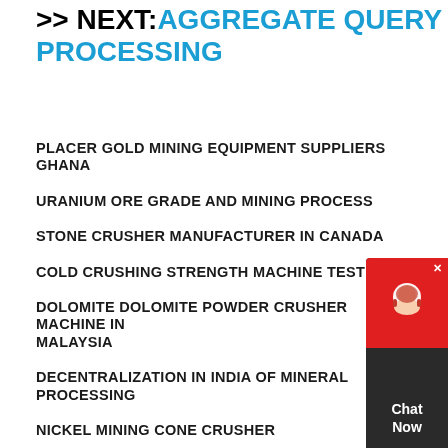>> NEXT: AGGREGATE QUERY PROCESSING
PLACER GOLD MINING EQUIPMENT SUPPLIERS GHANA
URANIUM ORE GRADE AND MINING PROCESS
STONE CRUSHER MANUFACTURER IN CANADA
COLD CRUSHING STRENGTH MACHINE TESTING
DOLOMITE DOLOMITE POWDER CRUSHER MACHINE IN MALAYSIA
DECENTRALIZATION IN INDIA OF MINERAL PROCESSING
NICKEL MINING CONE CRUSHER
STONE CRUSHER 100 TO 120 TPH MANUFACTURER IN INDIA
BOLA DE MILLER FUNCIONAMIENTO DE LA MAQUINA
CEMENT GRINDING AIDS CHEMICAL TECHNOLOGY
HIGH CAPACITY SAND WASHER MACHINE
[Figure (other): Live chat widget with red top section showing headset icon and dark bottom section with 'Chat Now' text]